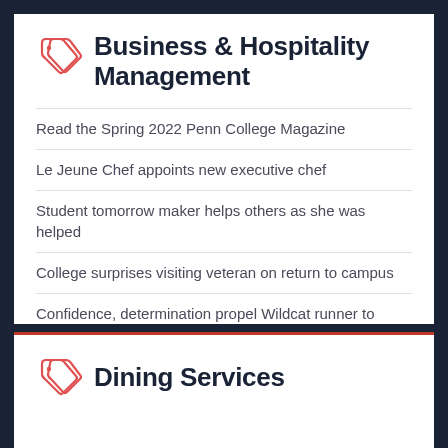Business & Hospitality Management
Read the Spring 2022 Penn College Magazine
Le Jeune Chef appoints new executive chef
Student tomorrow maker helps others as she was helped
College surprises visiting veteran on return to campus
Confidence, determination propel Wildcat runner to success
Dining Services